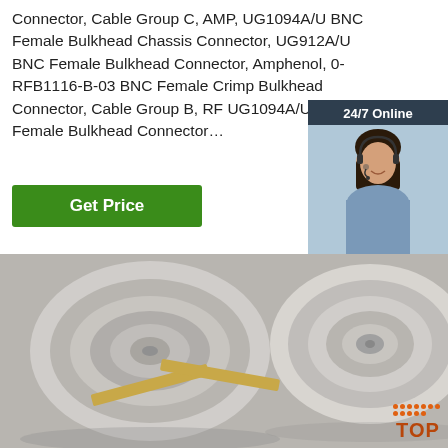Connector, Cable Group C, AMP, UG1094A/U BNC Female Bulkhead Chassis Connector, UG912A/U BNC Female Bulkhead Connector, Amphenol, 0-RFB1116-B-03 BNC Female Crimp Bulkhead Connector, Cable Group B, RF UG1094A/U-G BNC Female Bulkhead Connector…
Get Price
24/7 Online
[Figure (photo): Customer service representative woman with headset smiling]
Click here for free chat !
QUOTATION
[Figure (photo): Large steel coils/rolls stacked, industrial metal strips]
[Figure (logo): TOP badge logo with orange dots and text]